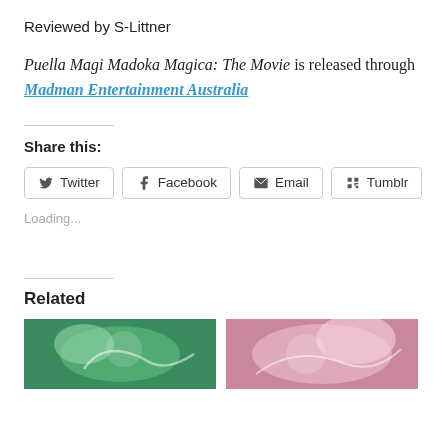Reviewed by S-Littner
Puella Magi Madoka Magica: The Movie is released through Madman Entertainment Australia
Share this:
Twitter  Facebook  Email  Tumblr
Loading...
Related
[Figure (photo): Two related article thumbnail images side by side: left shows an anime scene with green tones featuring a character with blue hair, right shows an anime scene with pink tones.]